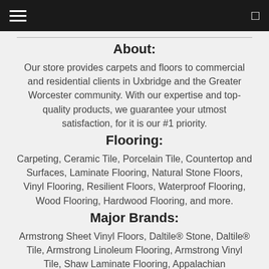About:
Our store provides carpets and floors to commercial and residential clients in Uxbridge and the Greater Worcester community. With our expertise and top-quality products, we guarantee your utmost satisfaction, for it is our #1 priority.
Flooring:
Carpeting, Ceramic Tile, Porcelain Tile, Countertop and Surfaces, Laminate Flooring, Natural Stone Floors, Vinyl Flooring, Resilient Floors, Waterproof Flooring, Wood Flooring, Hardwood Flooring, and more.
Major Brands:
Armstrong Sheet Vinyl Floors, Daltile® Stone, Daltile® Tile, Armstrong Linoleum Flooring, Armstrong Vinyl Tile, Shaw Laminate Flooring, Appalachian